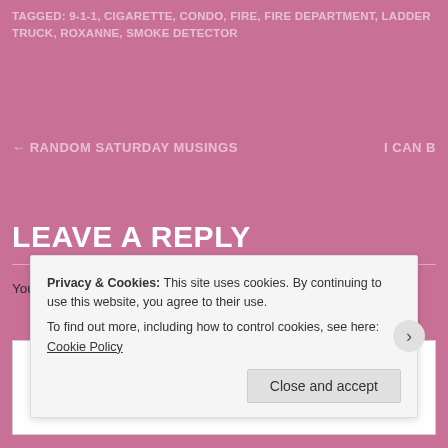TAGGED: 9-1-1, CIGARETTE, CONDO, FIRE, FIRE DEPARTMENT, LADDER TRUCK, ROXANNE, SMOKE DETECTOR
← RANDOM SATURDAY MUSINGS    I CAN B
LEAVE A REPLY
Your email address will not be published. Required fields
Privacy & Cookies: This site uses cookies. By continuing to use this website, you agree to their use. To find out more, including how to control cookies, see here: Cookie Policy
Close and accept